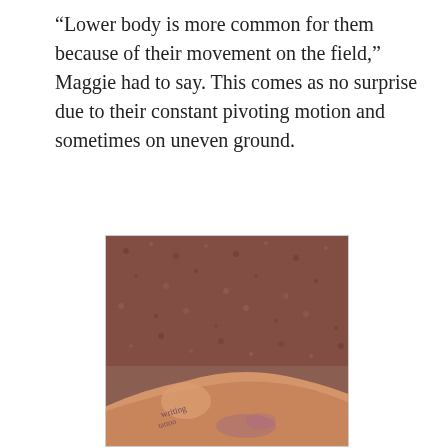“Lower body is more common for them because of their movement on the field,” Maggie had to say. This comes as no surprise due to their constant pivoting motion and sometimes on uneven ground.
[Figure (photo): A close-up photograph of a person's ankle/foot area showing bruising or injury, lying on a brown textured carpet background.]